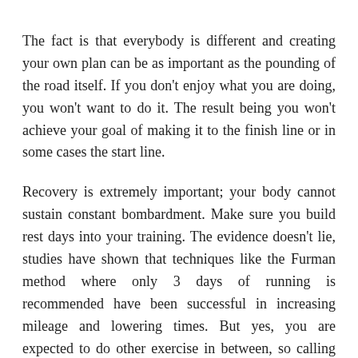The fact is that everybody is different and creating your own plan can be as important as the pounding of the road itself. If you don't enjoy what you are doing, you won't want to do it. The result being you won't achieve your goal of making it to the finish line or in some cases the start line.
Recovery is extremely important; your body cannot sustain constant bombardment. Make sure you build rest days into your training. The evidence doesn't lie, studies have shown that techniques like the Furman method where only 3 days of running is recommended have been successful in increasing mileage and lowering times. But yes, you are expected to do other exercise in between, so calling them 'rest days' probably isn't quite accurate. A gym class, cross fit or other forms of exercise are recommended to maintain strength without the constant trauma caused by the repetition of your foot hitting the pavement. The strain on your body and in particular your feet during this type of